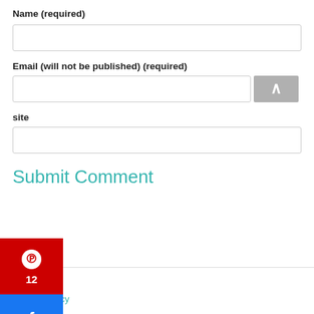Name (required)
Email (will not be published) (required)
site
Submit Comment
[Figure (infographic): Social media sharing sidebar with Pinterest (red, showing count 12), Facebook (blue), and Twitter (light blue) buttons on the left side of the page]
Contact
Privacy Policy